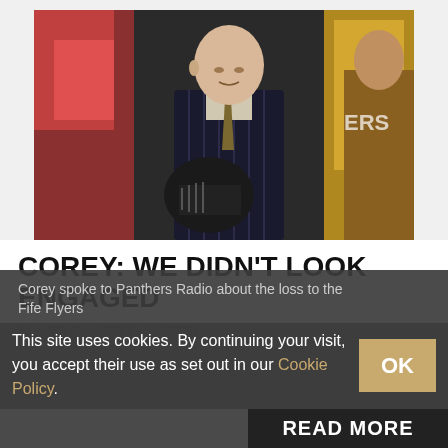[Figure (photo): A man in a pinstripe suit looking down at a hockey helmet, with colorful hockey arena banners in the background.]
COREY: WE DIDN'T LOOK ENGAGED
Sun 26 Nov 2017 - 7:52PM
Corey spoke to Panthers Radio about the loss to the Fife Flyers
This site uses cookies. By continuing your visit, you accept their use as set out in our Cookie Policy.